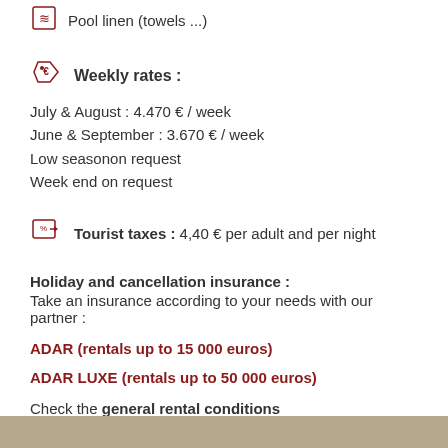Pool linen (towels ...)
Weekly rates :
July & August : 4.470 € / week
June & September : 3.670 € / week
Low seasonon request
Week end on request
Tourist taxes : 4,40 € per adult and per night
Holiday and cancellation insurance :
Take an insurance according to your needs with our partner :
ADAR (rentals up to 15 000 euros)
ADAR LUXE (rentals up to 50 000 euros)
Check the general rental conditions
> Document is not a contract